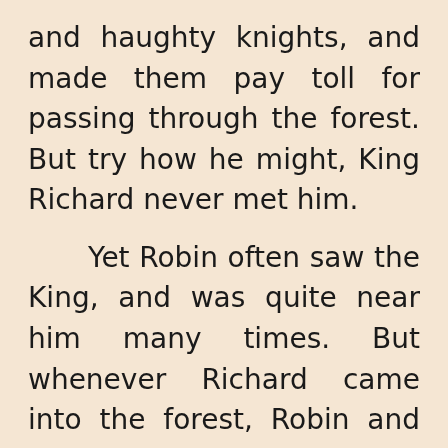and haughty knights, and made them pay toll for passing through the forest. But try how he might, King Richard never met him.

Yet Robin often saw the King, and was quite near him many times. But whenever Richard came into the forest, Robin and his men used to hide. They thought that he would probably be very angry with them for killing his deer, and for taking so much